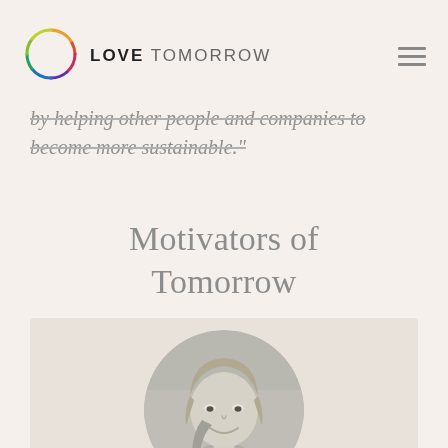LOVE TOMORROW
by helping other people and companies to become more sustainable."
Motivators of Tomorrow
[Figure (photo): Black and white circular portrait photo of a smiling blonde woman]